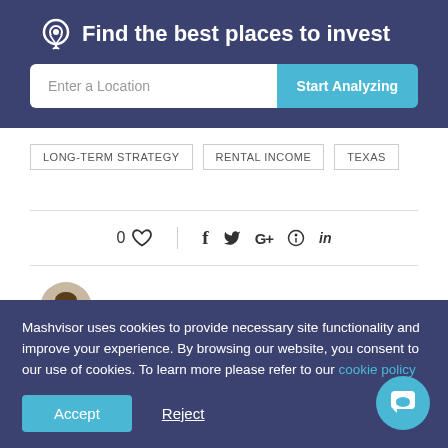Find the best places to invest
Enter a Location | Start Analyzing
LONG-TERM STRATEGY
RENTAL INCOME
TEXAS
0 [like] | f t G+ [pinterest] in
REXTER MARQUESES
Mashvisor uses cookies to provide necessary site functionality and improve your experience. By browsing our website, you consent to our use of cookies. To learn more please refer to our cookie policy
Accept | Reject